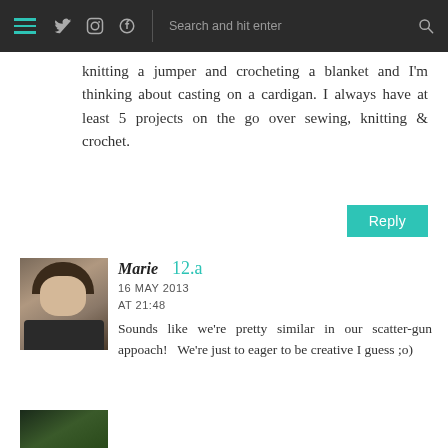Navigation bar with menu, social icons (Twitter, Instagram, Pinterest), search box
knitting a jumper and crocheting a blanket and I'm thinking about casting on a cardigan. I always have at least 5 projects on the go over sewing, knitting & crochet.
Reply
[Figure (photo): Avatar photo of Marie, a woman with short dark hair wearing a dark patterned top]
Marie  12.a
16 MAY 2013
AT 21:48
Sounds like we're pretty similar in our scatter-gun appoach!  We're just to eager to be creative I guess ;o)
[Figure (photo): Partial avatar photo at bottom, dark green tones]